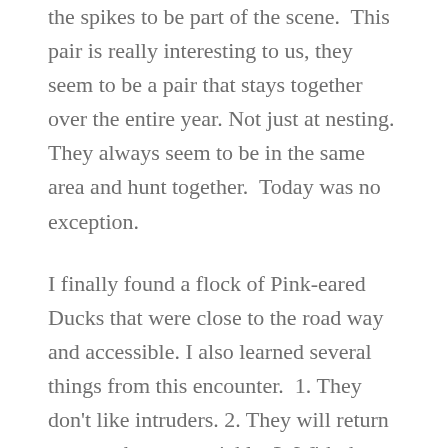the spikes to be part of the scene. This pair is really interesting to us, they seem to be a pair that stays together over the entire year. Not just at nesting. They always seem to be in the same area and hunt together. Today was no exception.
I finally found a flock of Pink-eared Ducks that were close to the road way and accessible. I also learned several things from this encounter. 1. They don't like intruders. 2. They will return to a perch pretty quickly. 3. With the tripod buried among the grasses they will not be alarmed when they return. and 4. Cars driving along the roadway, put them to flight